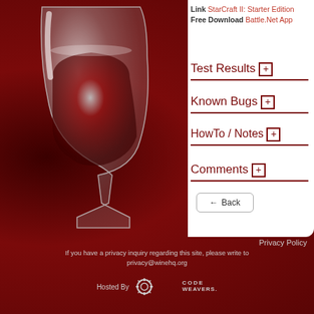Link StarCraft II: Starter Edition Free Download Battle.Net App
Test Results ⊞
Known Bugs ⊞
HowTo / Notes ⊞
Comments ⊞
← Back
Privacy Policy
If you have a privacy inquiry regarding this site, please write to privacy@winehq.org
Hosted By CodeWeavers